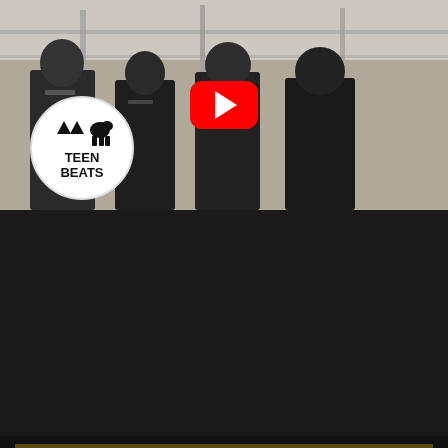[Figure (screenshot): YouTube video thumbnail for Teen Beats band — black and white photo of four young men in suits with a Teen Beats circular logo badge overlaid. A red YouTube play button is centered on the image.]
[Figure (screenshot): YouTube video player showing 'The Troggs - I Can't Control Myself'. Green record sleeve cover with THE TROGGS text and 'I can't control myself' text visible. Channel avatar in top left, three-dot menu top right, red YouTube play button centered.]